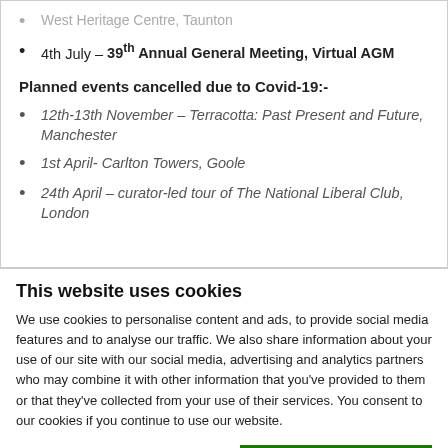West Heritage Centre, Taunton
4th July – 39th Annual General Meeting, Virtual AGM
Planned events cancelled due to Covid-19:-
12th-13th November – Terracotta: Past Present and Future, Manchester
1st April- Carlton Towers, Goole
24th April – curator-led tour of The National Liberal Club, London
This website uses cookies
We use cookies to personalise content and ads, to provide social media features and to analyse our traffic. We also share information about your use of our site with our social media, advertising and analytics partners who may combine it with other information that you've provided to them or that they've collected from your use of their services. You consent to our cookies if you continue to use our website.
OK
Necessary  Preferences  Statistics  Marketing  Show details